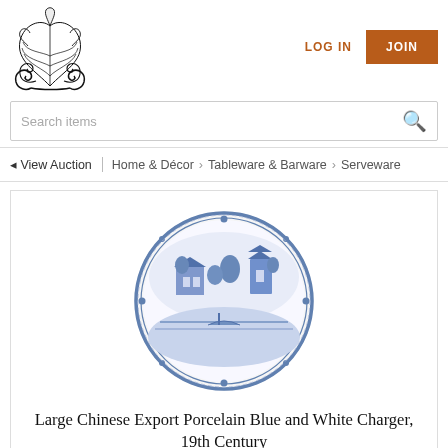[Figure (logo): Ornate decorative scrollwork/acanthus leaf logo in black ink]
LOG IN
JOIN
Search items
View Auction | Home & Décor > Tableware & Barware > Serveware
[Figure (photo): Large Chinese Export Porcelain Blue and White Charger plate, 19th Century, viewed from above showing blue and white decorative scene]
Large Chinese Export Porcelain Blue and White Charger, 19th Century